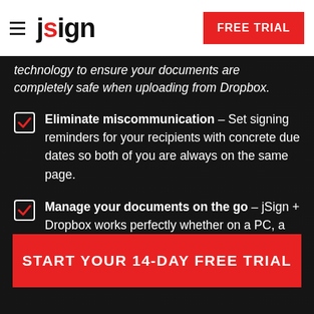jsign | FREE TRIAL
technology to ensure your documents are completely safe when uploading from Dropbox.
Eliminate miscommunication – Set signing reminders for your recipients with concrete due dates so both of you are always on the same page.
Manage your documents on the go – jSign + Dropbox works perfectly whether on a PC, a mobile device, or a tablet.
START YOUR 14-DAY FREE TRIAL